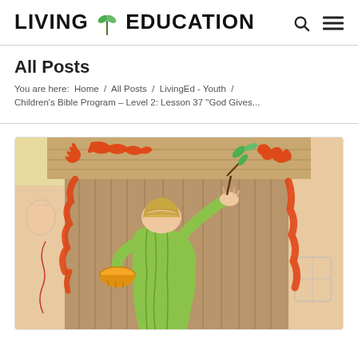LIVING EDUCATION
All Posts
You are here:  Home  /  All Posts  /  LivingEd - Youth  /  Children's Bible Program – Level 2: Lesson 37 "God Gives...
[Figure (illustration): Cartoon illustration of a person in a green robe using a branch to apply red/orange blood markings on the top and side posts of a wooden door, referencing the Passover story from the Bible.]